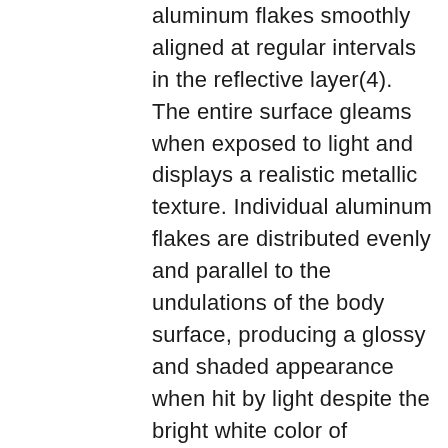aluminum flakes smoothly aligned at regular intervals in the reflective layer(4). The entire surface gleams when exposed to light and displays a realistic metallic texture. Individual aluminum flakes are distributed evenly and parallel to the undulations of the body surface, producing a glossy and shaded appearance when hit by light despite the bright white color of Rhodium White Premium.
As we believe color to be a key component of any vehicle, Mazda will continue to pursue new color expressions and painting technologies to enhance the attractiveness of our products.